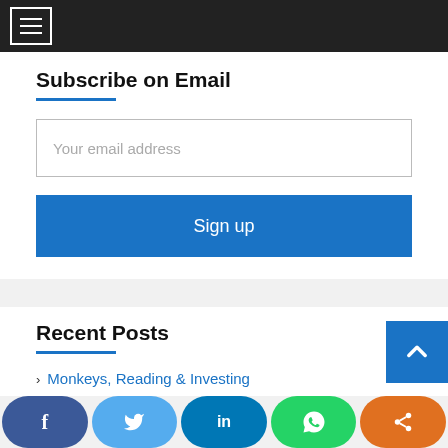Navigation menu (hamburger icon)
Subscribe on Email
Your email address
Sign up
Recent Posts
Monkeys, Reading & Investing
Watchlist 65- Insights from Q4FY22 Results and
[Figure (other): Social sharing bar with Facebook, Twitter, LinkedIn, WhatsApp, and Share buttons]